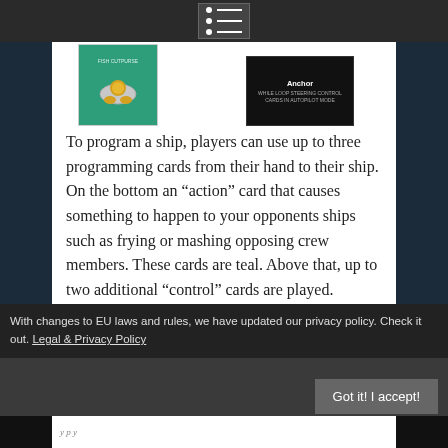[Figure (screenshot): Top navigation bar with hamburger/list menu icon on dark background]
[Figure (photo): Two card images: left is a teal card with a ship/fish illustration, right is a dark card labeled Anchor]
To program a ship, players can use up to three programming cards from their hand to their ship. On the bottom an “action” card that causes something to happen to your opponents ships such as frying or mashing opposing crew members. These cards are teal. Above that, up to two additional “control” cards are played. Control cards are orange and have common programming constructs like “while” and “for” loops and “if then”
With changes to EU laws and rules, we have updated our privacy policy. Check it out. Legal & Privacy Policy
Got it! I accept!